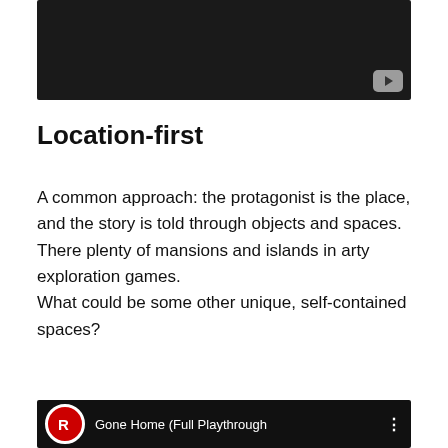[Figure (screenshot): Dark/black video thumbnail with a YouTube play button icon in the bottom-right corner]
Location-first
A common approach: the protagonist is the place, and the story is told through objects and spaces. There plenty of mansions and islands in arty exploration games.
What could be some other unique, self-contained spaces?
[Figure (screenshot): Video thumbnail showing Gone Home (Full Playthrough) with a red circular logo with R letter on the left]